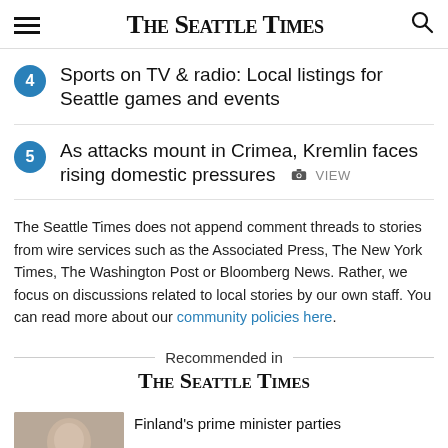The Seattle Times
4 Sports on TV & radio: Local listings for Seattle games and events
5 As attacks mount in Crimea, Kremlin faces rising domestic pressures  VIEW
The Seattle Times does not append comment threads to stories from wire services such as the Associated Press, The New York Times, The Washington Post or Bloomberg News. Rather, we focus on discussions related to local stories by our own staff. You can read more about our community policies here.
Recommended in The Seattle Times
Finland's prime minister parties